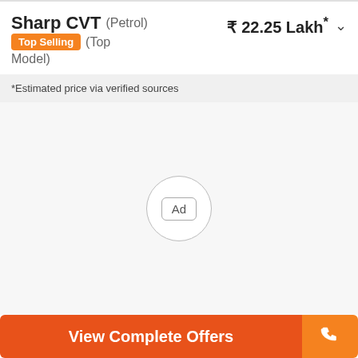Sharp CVT (Petrol) Top Selling (Top Model) ₹ 22.25 Lakh*
*Estimated price via verified sources
[Figure (other): Advertisement placeholder area with a circular Ad badge in the center]
View Complete Offers